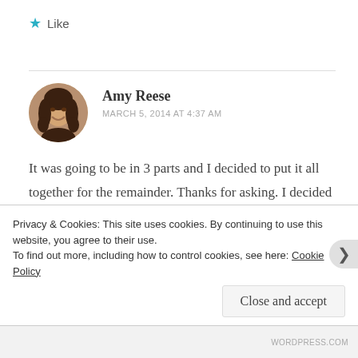★ Like
[Figure (photo): Circular avatar photo of Amy Reese, a woman with dark curly hair, smiling.]
Amy Reese
MARCH 5, 2014 AT 4:37 AM
It was going to be in 3 parts and I decided to put it all together for the remainder. Thanks for asking. I decided it was too short to break up! I think I will definitely rewrite it and then see if I want to do
Privacy & Cookies: This site uses cookies. By continuing to use this website, you agree to their use.
To find out more, including how to control cookies, see here: Cookie Policy
Close and accept